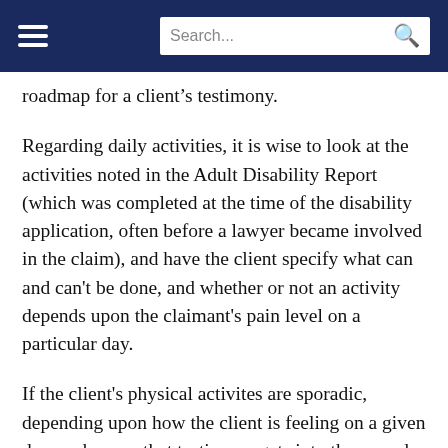Search...
roadmap for a client’s testimony.
Regarding daily activities, it is wise to look at the activities noted in the Adult Disability Report (which was completed at the time of the disability application, often before a lawyer became involved in the claim), and have the client specify what can and can't be done, and whether or not an activity depends upon the claimant's pain level on a particular day.
If the client's physical activites are sporadic, depending upon how the client is feeling on a given day, make sure that testimony gets into the record. The testimony should be specific about limitations. Details about daily activies supply an authenticity to